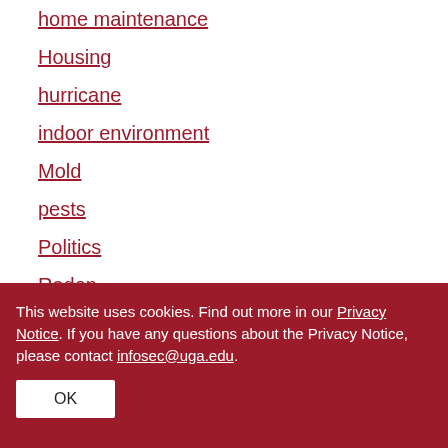home maintenance
Housing
hurricane
indoor environment
Mold
pests
Politics
Radon
Recycling
This website uses cookies. Find out more in our Privacy Notice. If you have any questions about the Privacy Notice, please contact infosec@uga.edu.